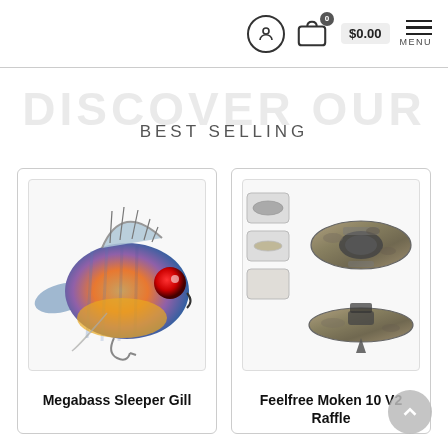Navigation bar with user icon, cart icon (0 items, $0.00), and MENU
DISCOVER OUR BEST SELLING
[Figure (photo): Product card showing a Megabass Sleeper Gill fishing lure — a colorful realistic fish-shaped bait with blue, green, purple, orange and silver coloring.]
Megabass Sleeper Gill
[Figure (photo): Product card showing a Feelfree Moken 10 V2 Raffle kayak — overhead and side view of a camouflage-patterned sit-on-top fishing kayak.]
Feelfree Moken 10 V2 Raffle